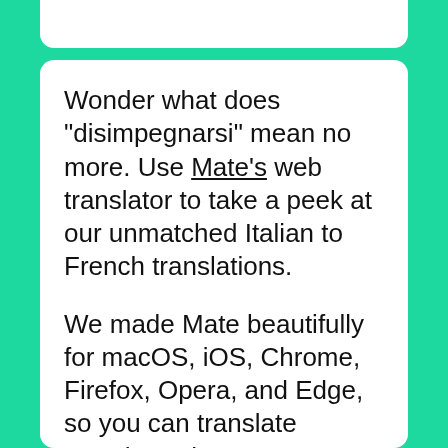Wonder what does "disimpegnarsi" mean no more. Use Mate's web translator to take a peek at our unmatched Italian to French translations.
We made Mate beautifully for macOS, iOS, Chrome, Firefox, Opera, and Edge, so you can translate anywhere there's text. No more app, browser tab switching, or copy-pasting.
The most advanced machine translation power right where you